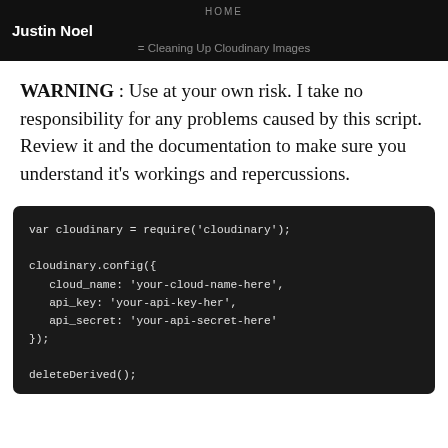HOME
Justin Noel
= Cleaning Up Cloudinary Images
WARNING : Use at your own risk. I take no responsibility for any problems caused by this script. Review it and the documentation to make sure you understand it's workings and repercussions.
var cloudinary = require('cloudinary');

cloudinary.config({
  cloud_name: 'your-cloud-name-here',
  api_key: 'your-api-key-her',
  api_secret: 'your-api-secret-here'
});

deleteDerived();